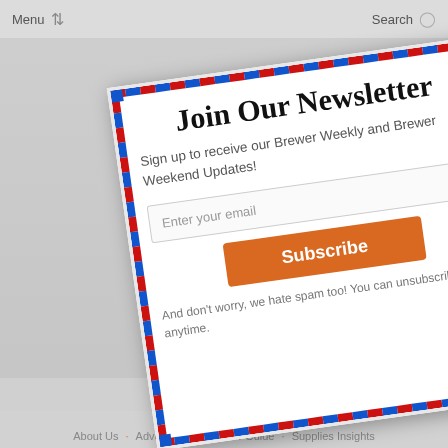Menu  Search
Join Our Newsletter
Sign up to receive our Brewer Weekly and Brewer Weekend Updates!
Enter your email
Subscribe
And don't worry, we hate spam too! You can unsubscribe at anytime.
powered by
© Willis Media, LLC.  About Us  Advertising  Brewer Guide  Supplies Insights